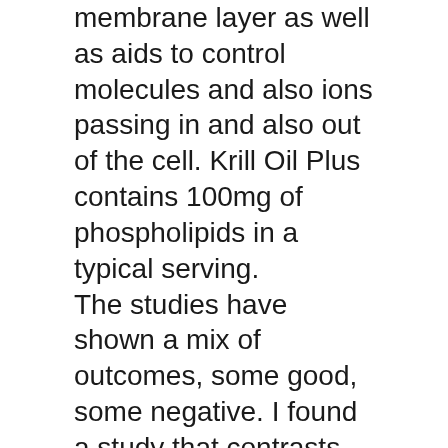membrane layer as well as aids to control molecules and also ions passing in and also out of the cell. Krill Oil Plus contains 100mg of phospholipids in a typical serving. The studies have shown a mix of outcomes, some good, some negative. I found a study that contrasts older and more recent research studies to locate the reasons for the different results of omega-3 fatty acids. The meta-analysis located general evidence still sustains the American Heart Organization's referral of having 2 portions of fatty fish per week.3.
Skin.
Some people are blessed with a normally stunning radiance. For the remainder of us